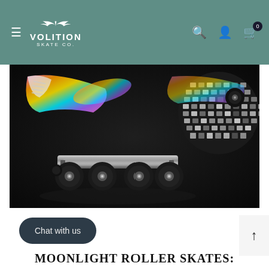Volition Skate Co. — navigation header
[Figure (photo): Close-up photo of iridescent holographic roller skates with black wheels and chrome trucks, posed against a dark glittery background with a disco mirror ball on the right side.]
Chat with us
MOONLIGHT ROLLER SKATES: